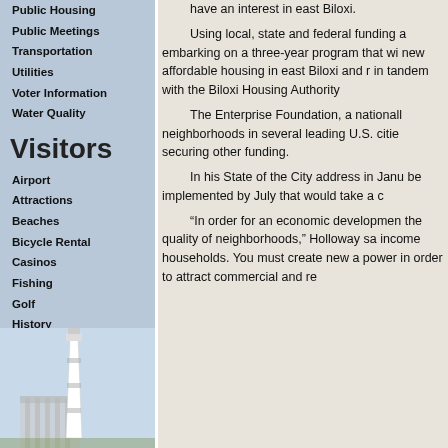Public Housing
Public Meetings
Transportation
Utilities
Voter Information
Water Quality
Visitors
Airport
Attractions
Beaches
Bicycle Rental
Casinos
Fishing
Golf
History
Lodging
Main Street
Museums
Visitors Center
More Info?
[Figure (photo): Lighthouse building photo at bottom of sidebar]
have an interest in east Biloxi. Using local, state and federal funding a embarking on a three-year program that wi new affordable housing in east Biloxi and r in tandem with the Biloxi Housing Authority The Enterprise Foundation, a nationall neighborhoods in several leading U.S. citie securing other funding. In his State of the City address in Janu be implemented by July that would take a c “In order for an economic developmen the quality of neighborhoods,” Holloway sa income households. You must create new a power in order to attract commercial and re